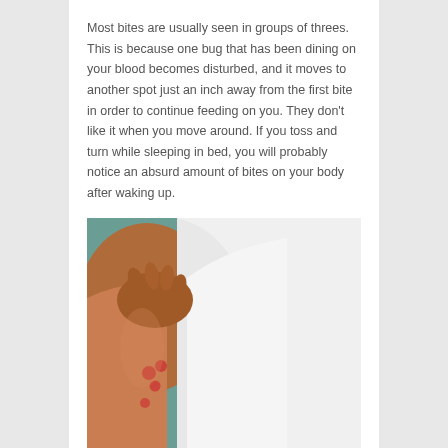Most bites are usually seen in groups of threes. This is because one bug that has been dining on your blood becomes disturbed, and it moves to another spot just an inch away from the first bite in order to continue feeding on you. They don't like it when you move around. If you toss and turn while sleeping in bed, you will probably notice an absurd amount of bites on your body after waking up.
[Figure (photo): Photo of a person lifting their white tank top to reveal red insect bites (likely bed bug bites) in a cluster of three on their side/waist area.]